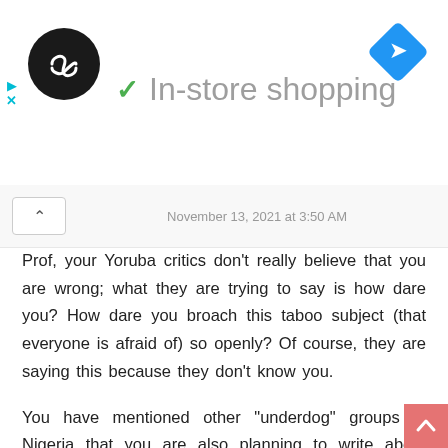[Figure (screenshot): Advertisement banner with circular black logo with infinity-like symbol, checkmark icon, text 'In-store shopping' in gray, and blue diamond navigation icon on the right. Left side has cyan play and X icons.]
November 13, 2021 at 3:50 AM
Prof, your Yoruba critics don't really believe that you are wrong; what they are trying to say is how dare you? How dare you broach this taboo subject (that everyone is afraid of) so openly? Of course, they are saying this because they don't know you.
You have mentioned other "underdog" groups in Nigeria that you are also planning to write about which is perfectly in order. Actually, my personal conviction is that the use of favourable power dynamics to alienate and oppress the "other" is part of human nature and don't think that there is any human group which has